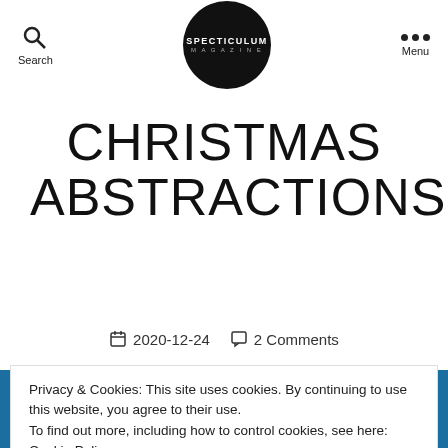Search | SPECTICULUM MAGAZINE | Menu
CHRISTMAS ABSTRACTIONS
2020-12-24   2 Comments
Privacy & Cookies: This site uses cookies. By continuing to use this website, you agree to their use. To find out more, including how to control cookies, see here: Cookie Policy.
CLOSE AND ACCEPT